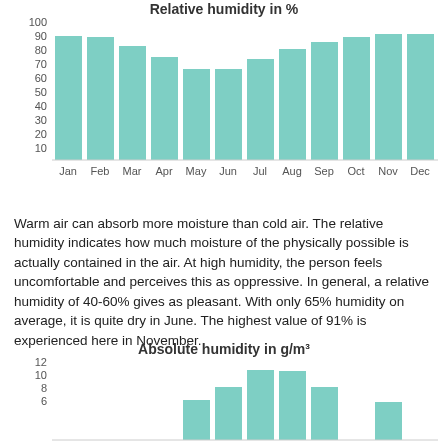[Figure (bar-chart): Relative humidity in %]
Warm air can absorb more moisture than cold air. The relative humidity indicates how much moisture of the physically possible is actually contained in the air. At high humidity, the person feels uncomfortable and perceives this as oppressive. In general, a relative humidity of 40-60% gives as pleasant. With only 65% humidity on average, it is quite dry in June. The highest value of 91% is experienced here in November.
[Figure (bar-chart): Absolute humidity in g/m³]